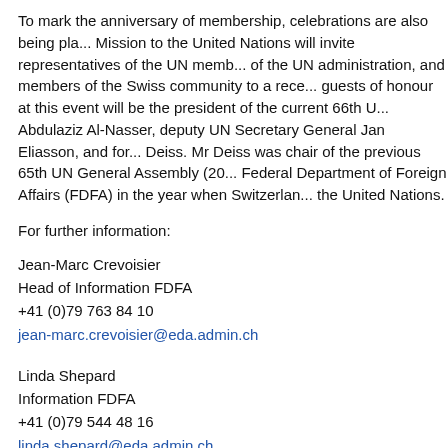To mark the anniversary of membership, celebrations are also being pla... Mission to the United Nations will invite representatives of the UN memb... of the UN administration, and members of the Swiss community to a rece... guests of honour at this event will be the president of the current 66th U... Abdulaziz Al-Nasser, deputy UN Secretary General Jan Eliasson, and for... Deiss. Mr Deiss was chair of the previous 65th UN General Assembly (20... Federal Department of Foreign Affairs (FDFA) in the year when Switzerlan... the United Nations.
For further information:
Jean-Marc Crevoisier
Head of Information FDFA
+41 (0)79 763 84 10
jean-marc.crevoisier@eda.admin.ch
Linda Shepard
Information FDFA
+41 (0)79 544 48 16
linda.shepard@eda.admin.ch
Enclosure: